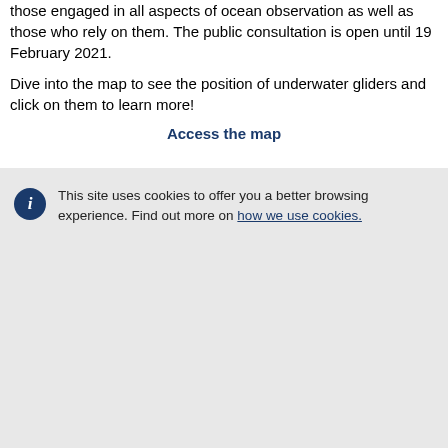those engaged in all aspects of ocean observation as well as those who rely on them. The public consultation is open until 19 February 2021.
Dive into the map to see the position of underwater gliders and click on them to learn more!
Access the map
This site uses cookies to offer you a better browsing experience. Find out more on how we use cookies.
Accept all cookies
Accept only essential cookies